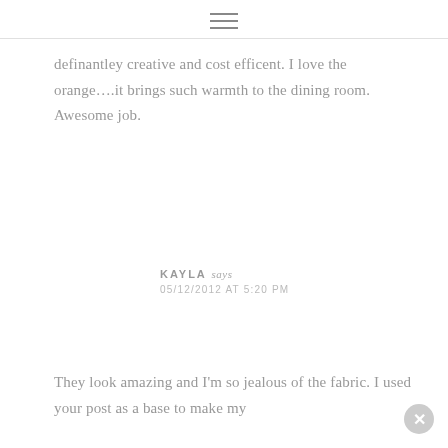≡
definantley creative and cost efficent. I love the orange….it brings such warmth to the dining room. Awesome job.
Reply
KAYLA says
05/12/2012 AT 5:20 PM
They look amazing and I'm so jealous of the fabric. I used your post as a base to make my